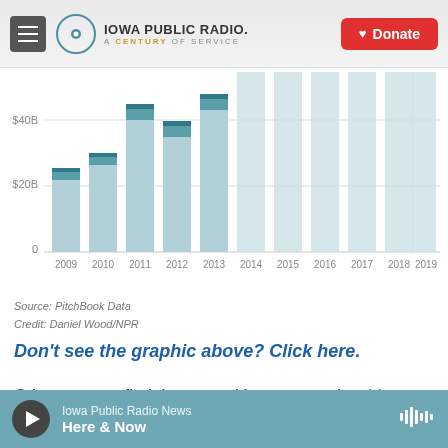[Figure (logo): Iowa Public Radio logo with circular icon and text 'IOWA PUBLIC RADIO. A CENTURY OF SERVICE']
[Figure (stacked-bar-chart): ]
Source: PitchBook Data
Credit: Daniel Wood/NPR
Don't see the graphic above? Click here.
Other surveys find that sexual harassment is a big problem for female founders.
Iowa Public Radio News
Here & Now